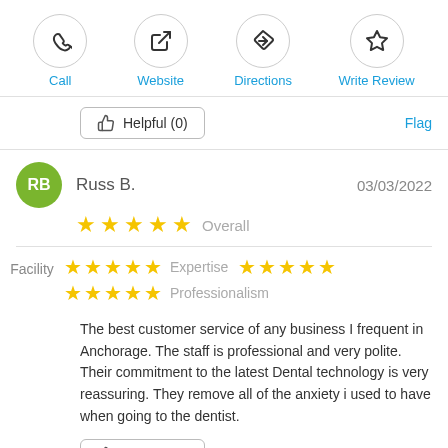[Figure (screenshot): Top navigation icons: Call, Website, Directions, Write Review]
Helpful (0)
Flag
Russ B.   03/03/2022
★★★★★ Overall
★★★★★ Expertise   ★★★★★
Facility   ★★★★★ Professionalism
The best customer service of any business I frequent in Anchorage. The staff is professional and very polite. Their commitment to the latest Dental technology is very reassuring. They remove all of the anxiety i used to have when going to the dentist.
Helpful (0)
Flag